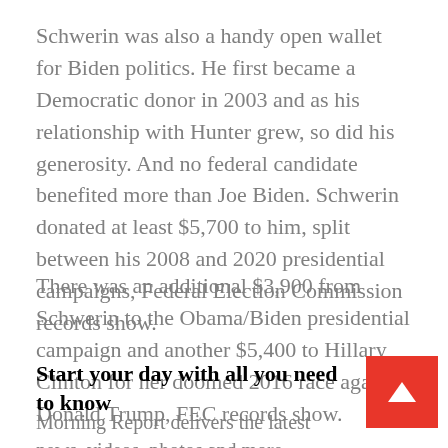Schwerin was also a handy open wallet for Biden politics. He first became a Democratic donor in 2003 and as his relationship with Hunter grew, so did his generosity. And no federal candidate benefited more than Joe Biden. Schwerin donated at least $5,700 to him, split between his 2008 and 2020 presidential campaigns, Federal Election Commission records show.
There was an additional $3,900 from Schwerin to the Obama/Biden presidential campaign and another $5,400 to Hillary Clinton for her doomed 2016 race against Donald Trump, FEC records show.
Start your day with all you need to know
Morning Report delivers the latest news, videos, photos and more.